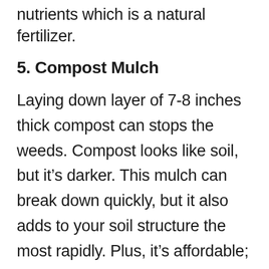nutrients which is a natural fertilizer.
5. Compost Mulch
Laying down layer of 7-8 inches thick compost can stops the weeds. Compost looks like soil, but it’s darker. This mulch can break down quickly, but it also adds to your soil structure the most rapidly. Plus, it’s affordable; you can create your own rich compost for free, even from grass clippings